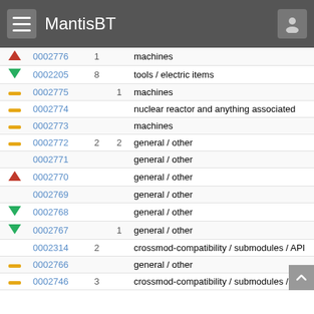MantisBT
|  | ID | N1 | N2 | Category |
| --- | --- | --- | --- | --- |
| ▲ | 0002776 | 1 |  | machines |
| ▼ | 0002205 | 8 |  | tools / electric items |
| — | 0002775 |  | 1 | machines |
| — | 0002774 |  |  | nuclear reactor and anything associated |
| — | 0002773 |  |  | machines |
| — | 0002772 | 2 | 2 | general / other |
|  | 0002771 |  |  | general / other |
| ▲ | 0002770 |  |  | general / other |
|  | 0002769 |  |  | general / other |
| ▼ | 0002768 |  |  | general / other |
| ▼ | 0002767 |  | 1 | general / other |
|  | 0002314 | 2 |  | crossmod-compatibility / submodules / API |
| — | 0002766 |  |  | general / other |
| — | 0002746 | 3 |  | crossmod-compatibility / submodules / API |